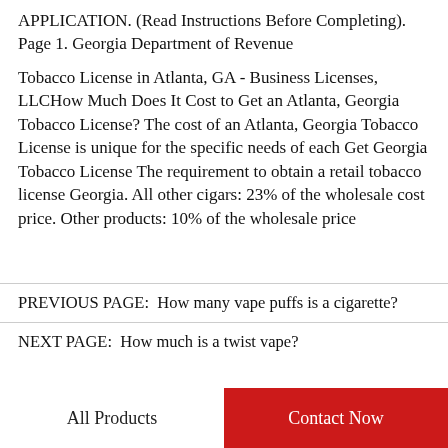APPLICATION. (Read Instructions Before Completing). Page 1. Georgia Department of Revenue
Tobacco License in Atlanta, GA - Business Licenses, LLCHow Much Does It Cost to Get an Atlanta, Georgia Tobacco License? The cost of an Atlanta, Georgia Tobacco License is unique for the specific needs of each Get Georgia Tobacco License The requirement to obtain a retail tobacco license Georgia. All other cigars: 23% of the wholesale cost price. Other products: 10% of the wholesale price
PREVIOUS PAGE:  How many vape puffs is a cigarette?
NEXT PAGE:  How much is a twist vape?
All Products
Contact Now